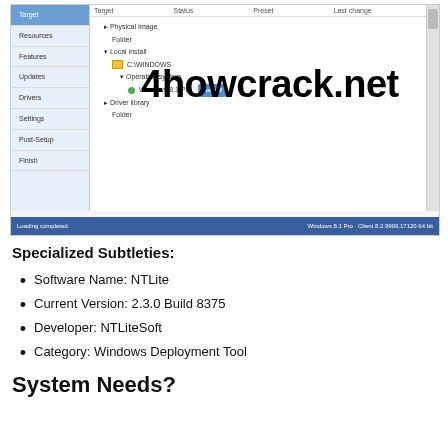[Figure (screenshot): Screenshot of NTLite software interface showing a tree/sidebar navigation with items: Target (highlighted), Resources, Features, Updates, Drivers, Settings, Post-Setup, Finish. Main panel shows columns: Target, Status, Preset, Last change. Tree shows Physical Image > Folder > Local install > C:WINDOWS > Operating system > Windows 8.1 Pro (Loaded). Status bar at bottom shows blue bar with 'loading completed' and Windows 8.1 Pro client info. Large watermark text '4howcrack.net' overlaid on the screenshot.]
Specialized Subtleties:
Software Name: NTLite
Current Version: 2.3.0 Build 8375
Developer: NTLiteSoft
Category: Windows Deployment Tool
System Needs?